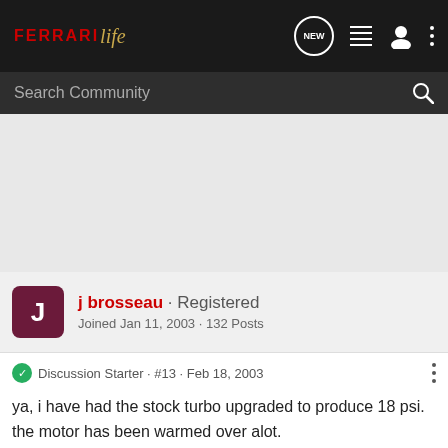Ferrari Life — navigation bar with logo, NEW chat icon, list icon, user icon, more icon
Search Community
j brosseau · Registered
Joined Jan 11, 2003 · 132 Posts
Discussion Starter · #13 · Feb 18, 2003
ya, i have had the stock turbo upgraded to produce 18 psi. the motor has been warmed over alot. porting,balanceing,blablabla. just about everything has been touched. but to keep the sleeper